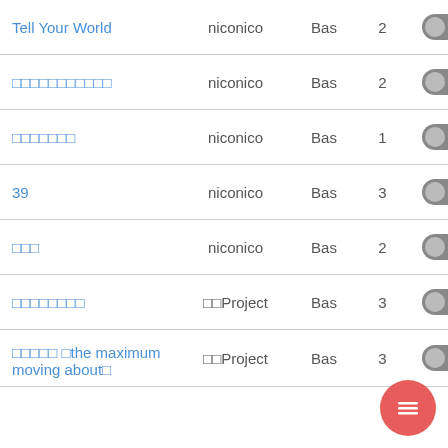| Title | Source | Tier | Num | Toggle |
| --- | --- | --- | --- | --- |
| Tell Your World | niconico | Bas | 2 |  |
| □□□□□□□□□□□ | niconico | Bas | 2 |  |
| □□□□□□□ | niconico | Bas | 1 |  |
| 39 | niconico | Bas | 3 |  |
| □□□ | niconico | Bas | 2 |  |
| □□□□□□□□ | □□Project | Bas | 3 |  |
| □□□□□ □the maximum moving about□ | □□Project | Bas | 3 |  |